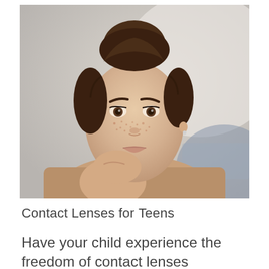[Figure (photo): Portrait photo of a young teenage girl with brown hair in a bun, freckles on her face, dark eyes, resting her chin on her hand, wearing a brown knit sweater. The background is blurred.]
Contact Lenses for Teens
Have your child experience the freedom of contact lenses